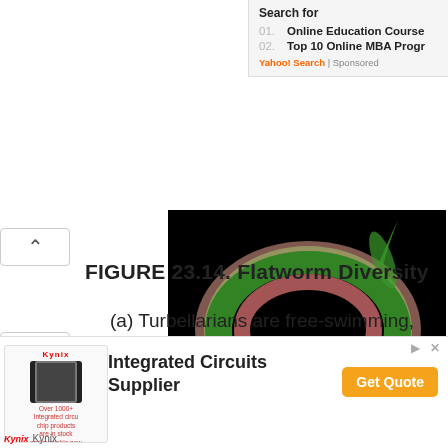Search for
01. Online Education Courses
02. Top 10 Online MBA Programs
Yahoo! Search | Sponsored
[Figure (photo): Microscope cross-section image of a flatworm (fluke), showing green and pink stained tissue layers against a black background.]
(c) Fluke
FIGURE 23.14. Flatworm Diversity
(a) Turbellarians are free-swimming, non-parasitic flatworms that inhabit marine
[Figure (infographic): Advertisement for Kynix Integrated Circuits Supplier. Shows Kynix logo, chip image with text 'Over 1000+ integrated circuits chip products are in stock and available now', and a Get Quote button.]